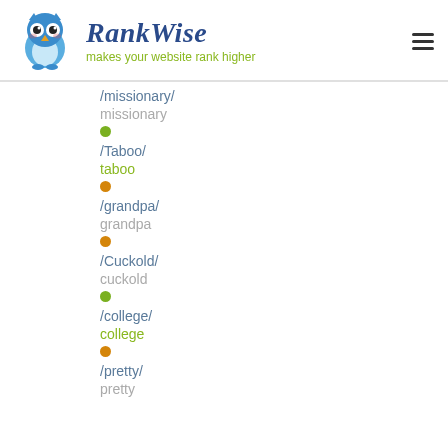RankWise — makes your website rank higher
/missionary/
missionary
/Taboo/
taboo
/grandpa/
grandpa
/Cuckold/
cuckold
/college/
college
/pretty/
pretty